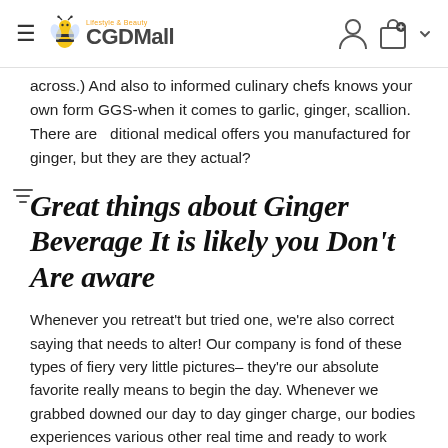CGDMall
across.) And also to informed culinary chefs knows your own form GGS-when it comes to garlic, ginger, scallion. There are ditional medical offers you manufactured for ginger, but they are they actual?
Great things about Ginger Beverage It is likely you Don't Are aware
Whenever you retreat't but tried one, we're also correct saying that needs to alter! Our company is fond of these types of fiery very little pictures– they're our absolute favorite really means to begin the day. Whenever we grabbed downed our day to day ginger charge, our bodies experiences various other real time and ready to work hard for all of us. Your download the body right the way through a lot of, this's vital that you give